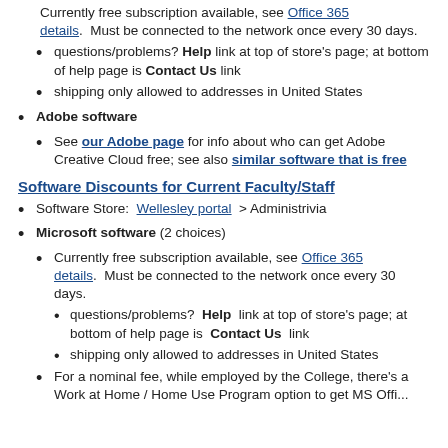Currently free subscription available, see Office 365 details.  Must be connected to the network once every 30 days.
questions/problems? Help link at top of store's page; at bottom of help page is Contact Us link
shipping only allowed to addresses in United States
Adobe software
See our Adobe page for info about who can get Adobe Creative Cloud free; see also similar software that is free
Software Discounts for Current Faculty/Staff
Software Store:  Wellesley portal  > Administrivia
Microsoft software (2 choices)
Currently free subscription available, see  Office 365 details.  Must be connected to the network once every 30 days.
questions/problems?  Help  link at top of store's page; at bottom of help page is  Contact Us  link
shipping only allowed to addresses in United States
For a nominal fee, while employed by the College, there's a Work at Home / Home Use Program option to get MS Offi...